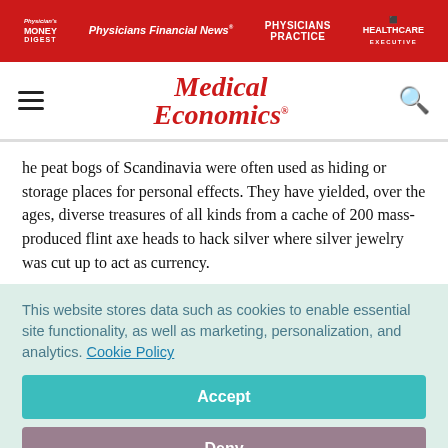Physician's Money Digest | Physicians Financial News | Physicians Practice | Healthcare Executive
Medical Economics
he peat bogs of Scandinavia were often used as hiding or storage places for personal effects. They have yielded, over the ages, diverse treasures of all kinds from a cache of 200 mass-produced flint axe heads to hack silver where silver jewelry was cut up to act as currency.
This website stores data such as cookies to enable essential site functionality, as well as marketing, personalization, and analytics. Cookie Policy
Accept
Deny